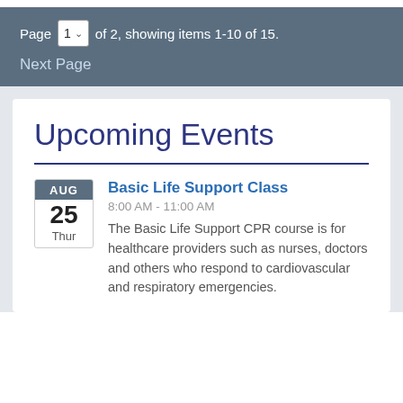Page 1 of 2, showing items 1-10 of 15.
Next Page
Upcoming Events
AUG 25 Thur
Basic Life Support Class
8:00 AM - 11:00 AM
The Basic Life Support CPR course is for healthcare providers such as nurses, doctors and others who respond to cardiovascular and respiratory emergencies.